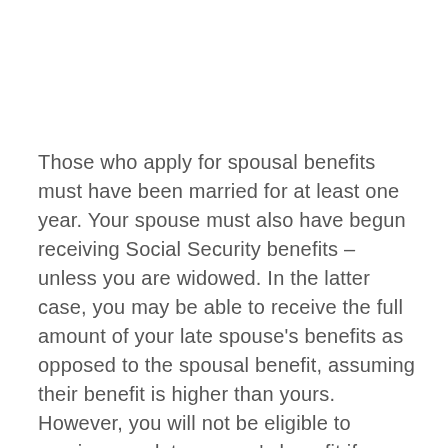Those who apply for spousal benefits must have been married for at least one year. Your spouse must also have begun receiving Social Security benefits – unless you are widowed. In the latter case, you may be able to receive the full amount of your late spouse's benefits as opposed to the spousal benefit, assuming their benefit is higher than yours. However, you will not be eligible to receive your late spouse's benefit if you remarry.
Even ex-spouses can file based on your earnings.